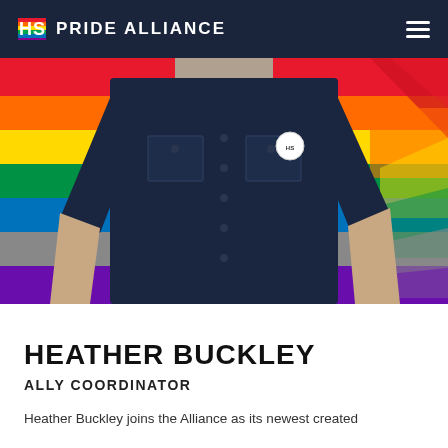HS PRIDE ALLIANCE
[Figure (photo): Person wearing a navy blue short-sleeve button-up shirt standing in front of a rainbow-striped wall. The person is shown from the neck down. A round pin/badge is visible on the left chest pocket. The background features bold horizontal rainbow stripes (red, orange, yellow, green, blue, grey, purple) with diagonal chevron accents on the right side.]
HEATHER BUCKLEY
ALLY COORDINATOR
Heather Buckley joins the Alliance as its newest created